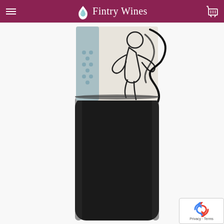Fintry Wines
[Figure (photo): Close-up photograph of a wine bottle showing the label area and the dark lower portion of the bottle. The label features illustrated black line art figures on a cream/off-white background with a small decorative patterned section visible on the left side.]
[Figure (other): reCAPTCHA badge in the bottom right corner showing the reCAPTCHA logo (stylized arrows forming a circle) with 'Privacy - Terms' text below.]